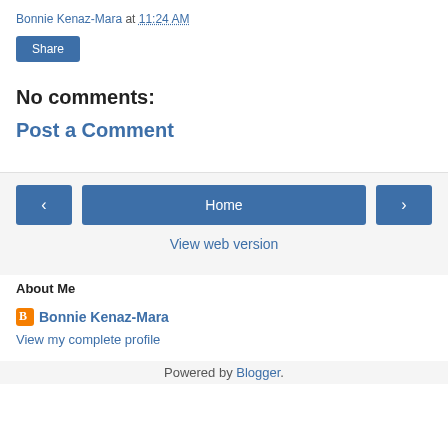Bonnie Kenaz-Mara at 11:24 AM
Share
No comments:
Post a Comment
‹
Home
›
View web version
About Me
Bonnie Kenaz-Mara
View my complete profile
Powered by Blogger.